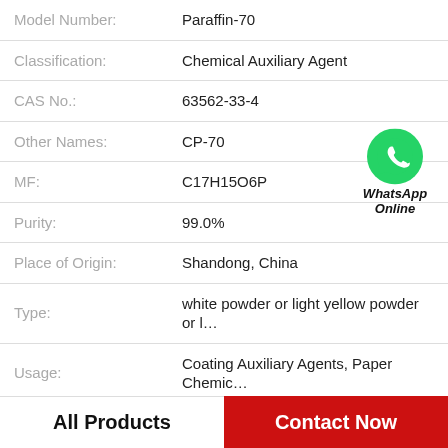| Field | Value |
| --- | --- |
| Model Number: | Paraffin-70 |
| Classification: | Chemical Auxiliary Agent |
| CAS No.: | 63562-33-4 |
| Other Names: | CP-70 |
| MF: | C17H15O6P |
| Purity: | 99.0% |
| Place of Origin: | Shandong, China |
| Type: | white powder or light yellow powder or l… |
| Usage: | Coating Auxiliary Agents, Paper Chemic… |
[Figure (logo): WhatsApp Online green phone icon badge with text WhatsApp Online]
All Products
Contact Now